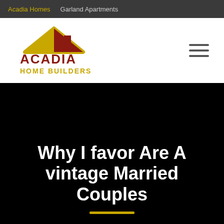Acadia Homes   Garland Apartments
[Figure (logo): Acadia Home Builders logo with house roof icon in gold and dark red, and text ACADIA HOME BUILDERS in dark red and gold]
Why I favor Are A vintage Married Couples